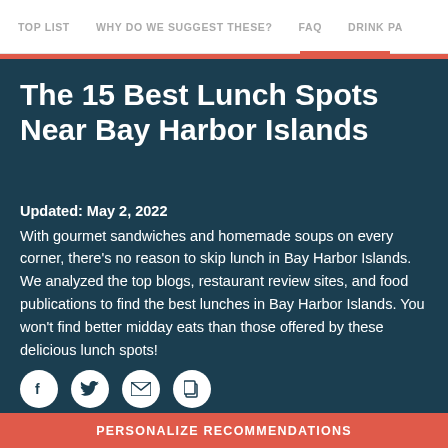TOP LIST   WHY DO WE SUGGEST THESE?   FAQ   DRINK PA
The 15 Best Lunch Spots Near Bay Harbor Islands
Updated: May 2, 2022
With gourmet sandwiches and homemade soups on every corner, there's no reason to skip lunch in Bay Harbor Islands. We analyzed the top blogs, restaurant review sites, and food publications to find the best lunches in Bay Harbor Islands. You won't find better midday eats than those offered by these delicious lunch spots!
[Figure (other): Social sharing icons: Facebook, Twitter, Email, Share]
PERSONALIZE RECOMMENDATIONS